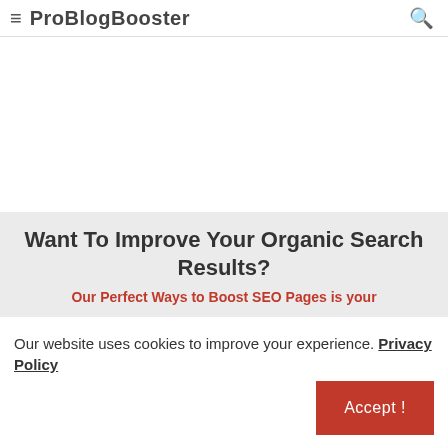≡ ProBlogBooster 🔍
[Figure (other): Advertisement / blank area]
Want To Improve Your Organic Search Results?
Our Perfect Ways to Boost SEO Pages is your
Our website uses cookies to improve your experience. Privacy Policy